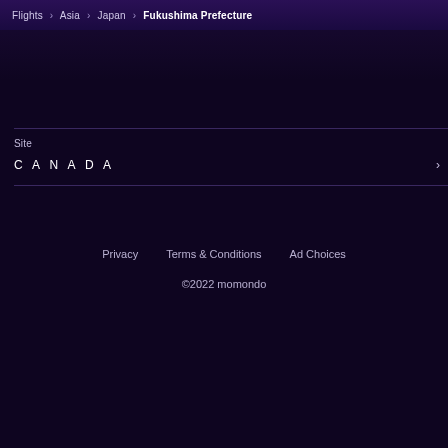Flights > Asia > Japan > Fukushima Prefecture
Site
CANADA
Privacy   Terms & Conditions   Ad Choices   ©2022 momondo